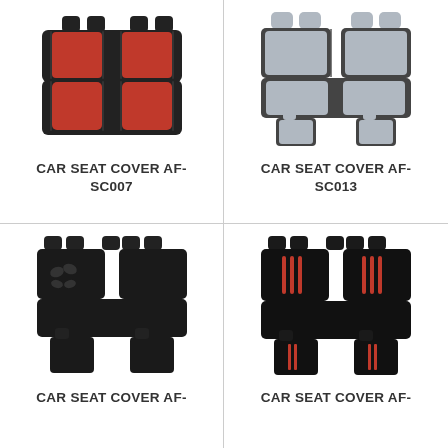[Figure (photo): Car seat cover set AF-SC007, black with red fabric inserts, showing front and rear seats]
CAR SEAT COVER AF-SC007
[Figure (photo): Car seat cover set AF-SC013, black with light grey fabric inserts, showing full 9-piece set]
CAR SEAT COVER AF-SC013
[Figure (photo): Car seat cover set, all black with butterfly embroidery design, showing full set]
CAR SEAT COVER AF-
[Figure (photo): Car seat cover set, black with red vertical stripe accents, showing full set]
CAR SEAT COVER AF-